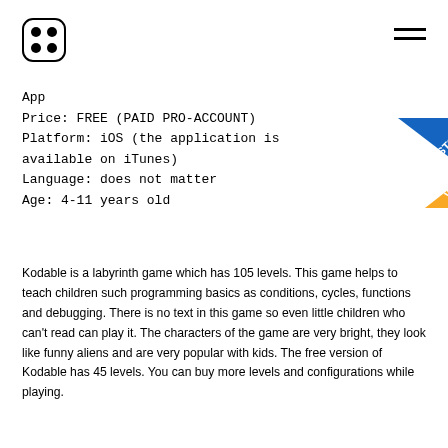[Figure (logo): Four circles arranged in a 2x2 grid inside a rounded square outline — app logo]
[Figure (other): STOP WAR badge with blue and yellow diagonal banner in upper right corner]
App
Price: FREE (PAID PRO-ACCOUNT)
Platform: iOS (the application is available on iTunes)
Language: does not matter
Age: 4-11 years old
Kodable is a labyrinth game which has 105 levels. This game helps to teach children such programming basics as conditions, cycles, functions and debugging. There is no text in this game so even little children who can't read can play it. The characters of the game are very bright, they look like funny aliens and are very popular with kids. The free version of Kodable has 45 levels. You can buy more levels and configurations while playing.